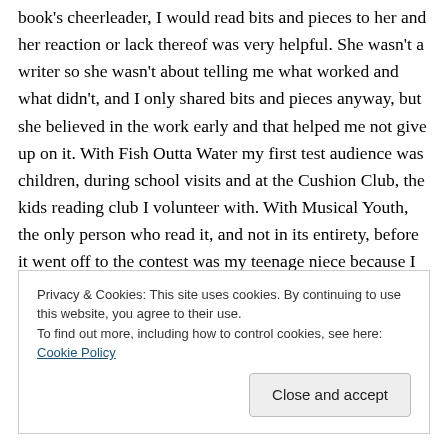book's cheerleader, I would read bits and pieces to her and her reaction or lack thereof was very helpful. She wasn't a writer so she wasn't about telling me what worked and what didn't, and I only shared bits and pieces anyway, but she believed in the work early and that helped me not give up on it. With Fish Outta Water my first test audience was children, during school visits and at the Cushion Club, the kids reading club I volunteer with. With Musical Youth, the only person who read it, and not in its entirety, before it went off to the contest was my teenage niece because I
Privacy & Cookies: This site uses cookies. By continuing to use this website, you agree to their use.
To find out more, including how to control cookies, see here: Cookie Policy